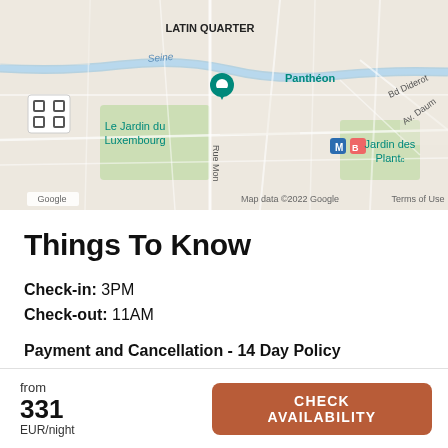[Figure (map): Google Maps view of Paris showing Latin Quarter, Le Jardin du Luxembourg, Panthéon, Coulée verte René-Dumont, Place de la Bastille, Jardin des Plantes, with Seine river and various streets. Map data ©2022 Google.]
Things To Know
Check-in: 3PM
Check-out: 11AM
Payment and Cancellation - 14 Day Policy
Grace Period:
Guests may cancel for free provided that: (1)
from
331
EUR/night
CHECK AVAILABILITY